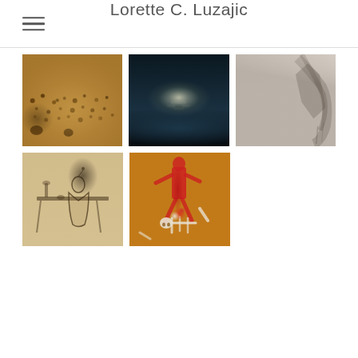Lorette C. Luzajic
[Figure (photo): Gallery grid of 5 artworks: top row shows a brownish crowd scene, a dark moonlit seascape, and an abstract white/grey painting; bottom row shows a beige ink drawing of a figure at a table and an orange painting with red skeleton figures in Basquiat style.]